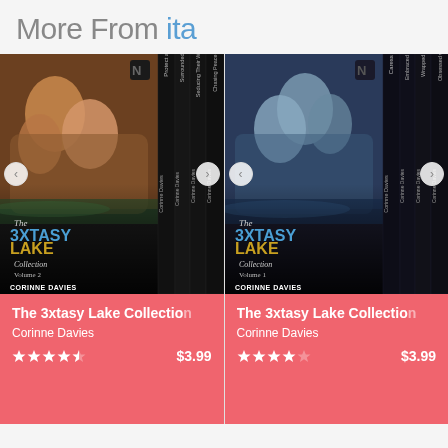More From ita
[Figure (photo): Book cover for The 3xtasy Lake Collection Volume 2 by Corinne Davies, showing a box set with multiple spines labeled: Chasing Peace Love & Fur, Seducing Their Wayfaring Souls, Surrounded By Fur, Protect and Fur. Author name Corinne Davies on each spine.]
The 3xtasy Lake Collection
Corinne Davies
$3.99
[Figure (photo): Book cover for The 3xtasy Lake Collection Volume 1 by Corinne Davies, showing a box set with multiple spines labeled: Obsessed with Fur, Wrapped in Fur, Embraced by Fur, Caress of Fur. Author name Corinne Davies on each spine.]
The 3xtasy Lake Collection
Corinne Davies
$3.99